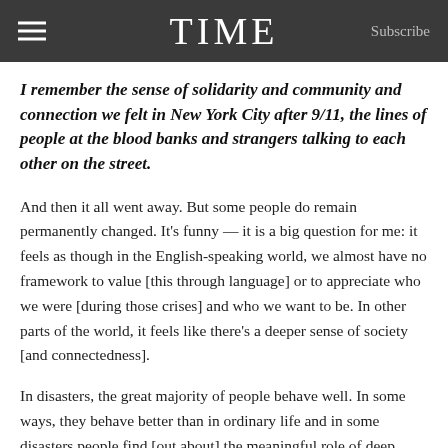TIME  Subscribe
I remember the sense of solidarity and community and connection we felt in New York City after 9/11, the lines of people at the blood banks and strangers talking to each other on the street.
And then it all went away. But some people do remain permanently changed. It’s funny — it is a big question for me: it feels as though in the English-speaking world, we almost have no framework to value [this through language] or to appreciate who we were [during those crises] and who we want to be. In other parts of the world, it feels like there’s a deeper sense of society [and connectedness].
In disasters, the great majority of people behave well. In some ways, they behave better than in ordinary life and in some disasters people find [out about] the meaningful role of deep social connections and see their absence in everyday life.